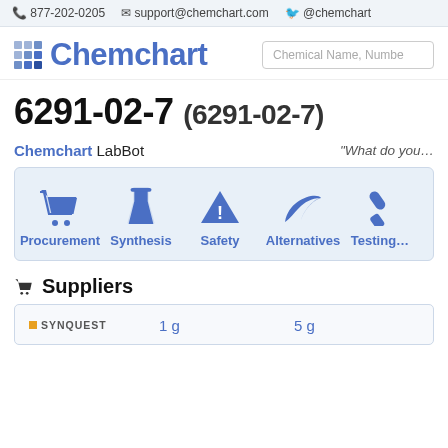877-202-0205  support@chemchart.com  @chemchart
[Figure (logo): Chemchart logo with blue grid icon and blue text 'Chemchart', plus a search box labeled 'Chemical Name, Number']
6291-02-7 (6291-02-7)
Chemchart LabBot  "What do you..."
[Figure (infographic): Navigation panel with blue icons and labels: Procurement (shopping cart), Synthesis (flask), Safety (warning triangle), Alternatives (leaf), Testing (test tube)]
Suppliers
|  | 1 g | 5 g |
| --- | --- | --- |
| SYNQUEST |  |  |